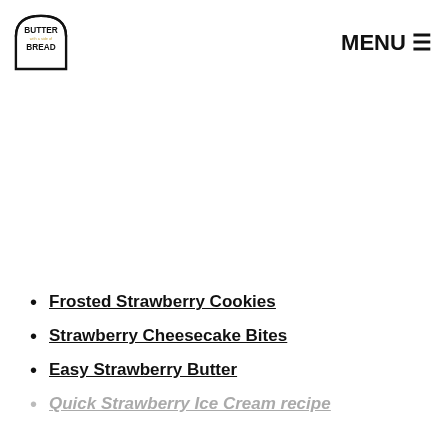[Figure (logo): Butter with a side of Bread logo — toast shape outline with text BUTTER with a side of BREAD]
MENU ☰
Frosted Strawberry Cookies
Strawberry Cheesecake Bites
Easy Strawberry Butter
Quick Strawberry Ice Cream recipe